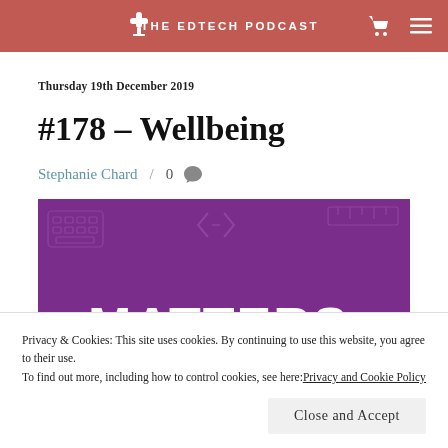THE EDTECH PODCAST
Thursday 19th December 2019
#178 – Wellbeing
Stephanie Chard / 0
[Figure (illustration): Purple banner image with technology icons (keyboard, code brackets, ruler) and large white text reading 'MATTERS']
Privacy & Cookies: This site uses cookies. By continuing to use this website, you agree to their use.
To find out more, including how to control cookies, see here: Privacy and Cookie Policy
Close and Accept